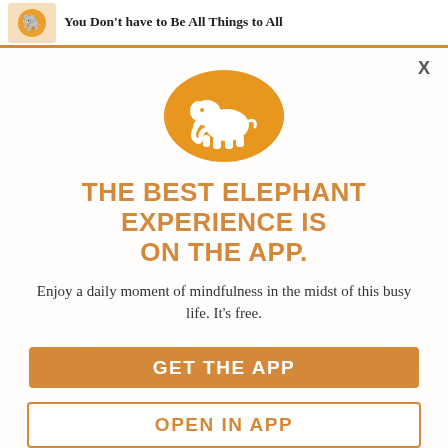You Don't have to Be All Things to All
[Figure (logo): Orange circle with white elephant silhouette - Elephant app logo]
THE BEST ELEPHANT EXPERIENCE IS ON THE APP.
Enjoy a daily moment of mindfulness in the midst of this busy life. It's free.
GET THE APP
OPEN IN APP